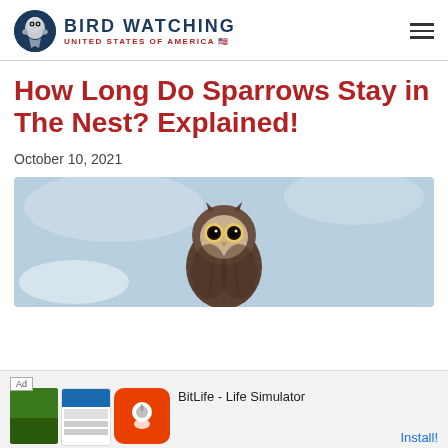BIRD WATCHING UNITED STATES OF AMERICA
How Long Do Sparrows Stay in The Nest? Explained!
October 10, 2021
[Figure (photo): A young owl (burrowing owl fledgling) looking forward against a light blue sky background]
Ad BitLife - Life Simulator Install!